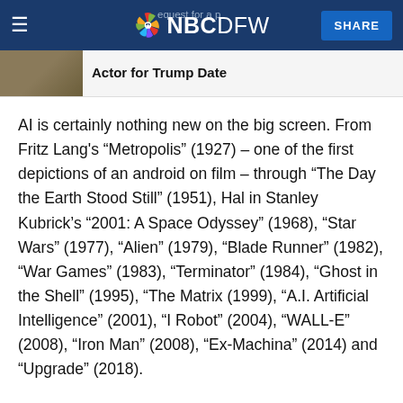NBC DFW — SHARE
Actor for Trump Date
AI is certainly nothing new on the big screen. From Fritz Lang's “Metropolis” (1927) – one of the first depictions of an android on film – through “The Day the Earth Stood Still” (1951), Hal in Stanley Kubrick’s “2001: A Space Odyssey” (1968), “Star Wars” (1977), “Alien” (1979), “Blade Runner” (1982), “War Games” (1983), “Terminator” (1984), “Ghost in the Shell” (1995), “The Matrix (1999), “A.I. Artificial Intelligence” (2001), “I Robot” (2004), “WALL-E” (2008), “Iron Man” (2008), “Ex-Machina” (2014) and “Upgrade” (2018).
Television forays into the subject matter appeared on shows such as “Lost in Space,” “Westworld,” “Knight Rider,” “The ...